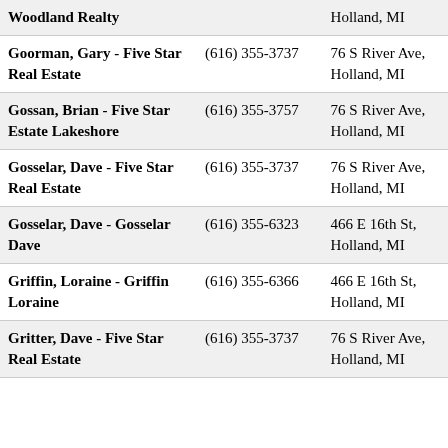| Name | Phone | Address |
| --- | --- | --- |
| Woodland Realty |  | Holland, MI |
| Goorman, Gary - Five Star Real Estate | (616) 355-3737 | 76 S River Ave, Holland, MI |
| Gossan, Brian - Five Star Estate Lakeshore | (616) 355-3757 | 76 S River Ave, Holland, MI |
| Gosselar, Dave - Five Star Real Estate | (616) 355-3737 | 76 S River Ave, Holland, MI |
| Gosselar, Dave - Gosselar Dave | (616) 355-6323 | 466 E 16th St, Holland, MI |
| Griffin, Loraine - Griffin Loraine | (616) 355-6366 | 466 E 16th St, Holland, MI |
| Gritter, Dave - Five Star Real Estate | (616) 355-3737 | 76 S River Ave, Holland, MI |